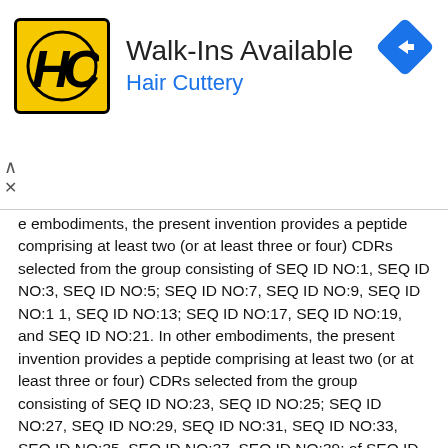[Figure (logo): Hair Cuttery advertisement banner with HC logo, 'Walk-Ins Available' heading, 'Hair Cuttery' subtitle in blue, and a blue navigation arrow icon]
e embodiments, the present invention provides a peptide comprising at least two (or at least three or four) CDRs selected from the group consisting of SEQ ID NO:1, SEQ ID NO:3, SEQ ID NO:5; SEQ ID NO:7, SEQ ID NO:9, SEQ ID NO:1 1, SEQ ID NO:13; SEQ ID NO:17, SEQ ID NO:19, and SEQ ID NO:21. In other embodiments, the present invention provides a peptide comprising at least two (or at least three or four) CDRs selected from the group consisting of SEQ ID NO:23, SEQ ID NO:25; SEQ ID NO:27, SEQ ID NO:29, SEQ ID NO:31, SEQ ID NO:33, SEQ ID NO:35, SEQ ID NO:37, SEQ ID NO:39; of SEQ ID NO:43, SEQ ID NO:45, SEQ ID NO:47, SEQ ID NO:49, SEQ ID NO:51, SEQ ID NO:53, SEQ ID NO:55, and SEQ ID NO:57.
In certain embodiments, the present invention provides a composition comprising a light chain variable region and a heavy chain variable region, wherein the light chain variable region comprises an amino acid sequence selected from the group consisting of SEQ ID NO:1, SEQ ID NO:3, SEQ ID NO:5; SEQ ID NO:7, SEQ ID NO:9, SEQ ID NO:11, SEQ ID NO:13; SEQ ID NO:17, SEQ ID NO:19, and SEQ ID NO:21; and wherein the heavy chain variable region comprises an amino acid sequence selected from